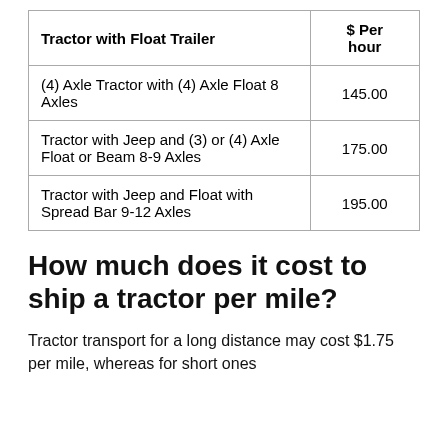| Tractor with Float Trailer | $ Per hour |
| --- | --- |
| (4) Axle Tractor with (4) Axle Float 8 Axles | 145.00 |
| Tractor with Jeep and (3) or (4) Axle Float or Beam 8-9 Axles | 175.00 |
| Tractor with Jeep and Float with Spread Bar 9-12 Axles | 195.00 |
How much does it cost to ship a tractor per mile?
Tractor transport for a long distance may cost $1.75 per mile, whereas for short ones